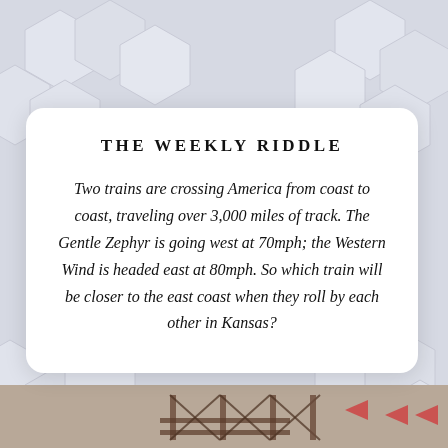[Figure (illustration): Light grey geometric hexagon pattern background with white card overlay and a bottom image strip showing a train/rail scene]
THE WEEKLY RIDDLE
Two trains are crossing America from coast to coast, traveling over 3,000 miles of track. The Gentle Zephyr is going west at 70mph; the Western Wind is headed east at 80mph. So which train will be closer to the east coast when they roll by each other in Kansas?